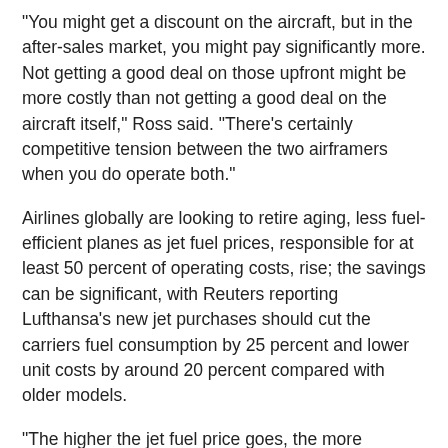"You might get a discount on the aircraft, but in the after-sales market, you might pay significantly more. Not getting a good deal on those upfront might be more costly than not getting a good deal on the aircraft itself," Ross said. "There's certainly competitive tension between the two airframers when you do operate both."
Airlines globally are looking to retire aging, less fuel-efficient planes as jet fuel prices, responsible for at least 50 percent of operating costs, rise; the savings can be significant, with Reuters reporting Lufthansa's new jet purchases should cut the carriers fuel consumption by 25 percent and lower unit costs by around 20 percent compared with older models.
"The higher the jet fuel price goes, the more impetus is added for older aircraft retirement," Ross said. JAL has a large number of aircraft due for retirement, he noted.
There's another reason carriers, such as JAL, are looking to diversify their planes.